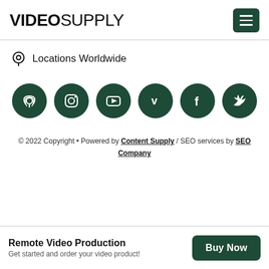VIDEO SUPPLY
Locations Worldwide
[Figure (infographic): Six dark green social media icon circles in a row: podcast/wifi, Instagram, YouTube, Vimeo, Facebook, Twitter]
© 2022 Copyright • Powered by Content Supply / SEO services by SEO Company
Remote Video Production
Get started and order your video product!